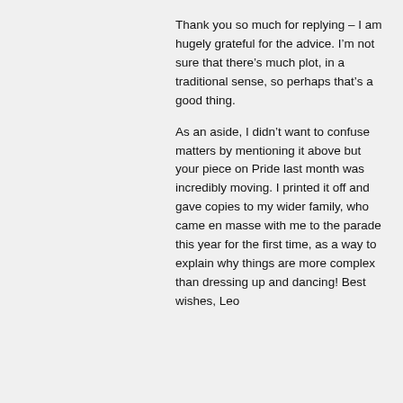Thank you so much for replying – I am hugely grateful for the advice. I'm not sure that there's much plot, in a traditional sense, so perhaps that's a good thing.
As an aside, I didn't want to confuse matters by mentioning it above but your piece on Pride last month was incredibly moving. I printed it off and gave copies to my wider family, who came en masse with me to the parade this year for the first time, as a way to explain why things are more complex than dressing up and dancing! Best wishes, Leo